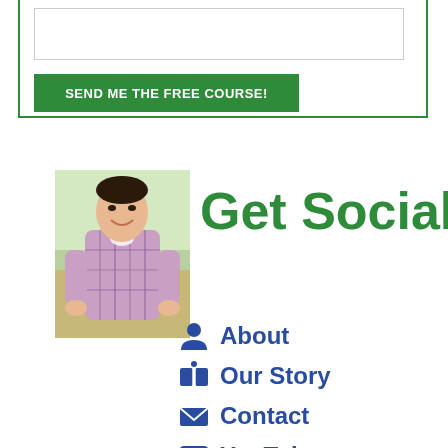[Figure (screenshot): Input field (text box) inside a green-bordered form box]
SEND ME THE FREE COURSE!
[Figure (photo): Photo of a smiling young Asian man in a plaid shirt, crouching outdoors]
Get Social
About
Our Story
Contact
YouTube